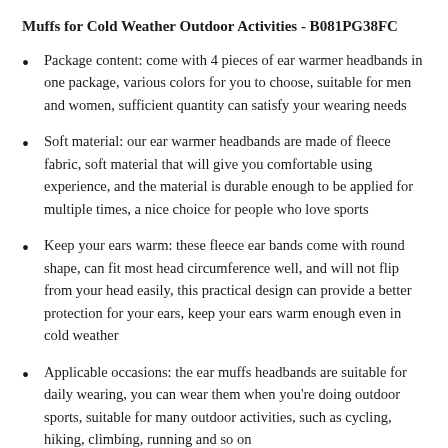Muffs for Cold Weather Outdoor Activities - B081PG38FC
Package content: come with 4 pieces of ear warmer headbands in one package, various colors for you to choose, suitable for men and women, sufficient quantity can satisfy your wearing needs
Soft material: our ear warmer headbands are made of fleece fabric, soft material that will give you comfortable using experience, and the material is durable enough to be applied for multiple times, a nice choice for people who love sports
Keep your ears warm: these fleece ear bands come with round shape, can fit most head circumference well, and will not flip from your head easily, this practical design can provide a better protection for your ears, keep your ears warm enough even in cold weather
Applicable occasions: the ear muffs headbands are suitable for daily wearing, you can wear them when you're doing outdoor sports, suitable for many outdoor activities, such as cycling, hiking, climbing, running and so on